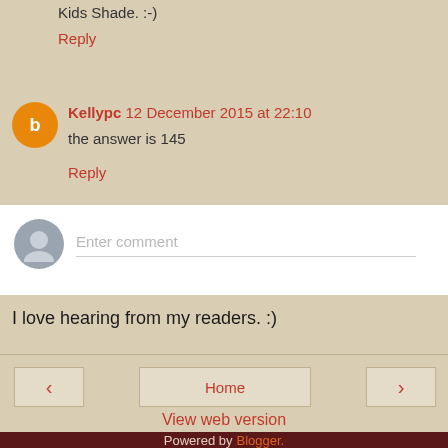Kids Shade: :-)
Reply
Kellypc 12 December 2015 at 22:10
the answer is 145
Reply
[Figure (other): Comment input box with avatar placeholder and Enter comment field]
I love hearing from my readers. :)
Home | < | > | View web version | Powered by Blogger.